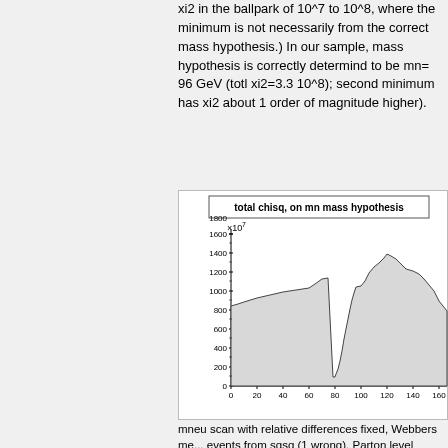xi2 in the ballpark of 10^7 to 10^8, where the minimum is not necessarily from the correct mass hypothesis.) In our sample, mass hypothesis is correctly determind to be mn= 96 GeV (totl xi2=3.3 10^8); second minimum has xi2 about 1 order of magnitude higher).
[Figure (histogram): Histogram of total chisq on mn mass hypothesis. Y-axis in units of 10^7, x-axis from 0 to ~160. Shows a broad plateau rising from ~850 to ~1150 between x=0 and x=75, then a deep minimum near x=90 (down to ~200), then a large peak reaching ~1400 near x=130, then declining.]
mneu scan with relative differences fixed, Webbers me... events from sqsq (1 wrong). Parton level